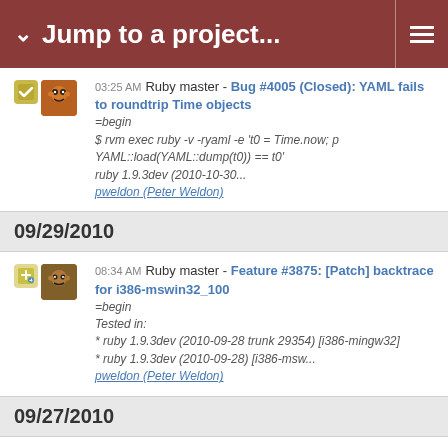Jump to a project...
03:25 AM Ruby master - Bug #4005 (Closed): YAML fails to roundtrip Time objects
=begin
$ rvm exec ruby -v -ryaml -e 't0 = Time.now; p YAML::load(YAML::dump(t0)) == t0'
ruby 1.9.3dev (2010-10-30...
pweldon (Peter Weldon)
09/29/2010
08:34 AM Ruby master - Feature #3875: [Patch] backtrace for i386-mswin32_100
=begin
Tested in:
* ruby 1.9.3dev (2010-09-28 trunk 29354) [i386-mingw32]
* ruby 1.9.3dev (2010-09-28) [i386-msw...
pweldon (Peter Weldon)
09/27/2010
03:55 AM Ruby master - Feature #3875: [Patch] backtrace for i386-mswin32_100